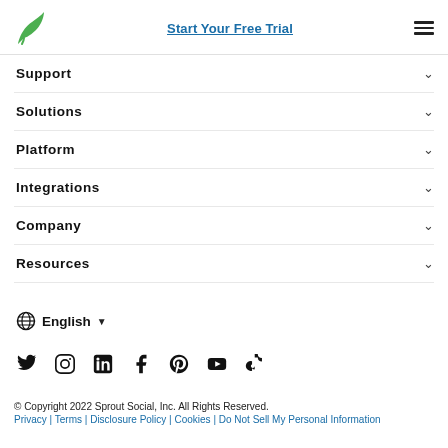Start Your Free Trial
Support
Solutions
Platform
Integrations
Company
Resources
English
[Figure (illustration): Social media icons: Twitter, Instagram, LinkedIn, Facebook, Pinterest, YouTube, TikTok]
© Copyright 2022 Sprout Social, Inc. All Rights Reserved.
Privacy | Terms | Disclosure Policy | Cookies | Do Not Sell My Personal Information